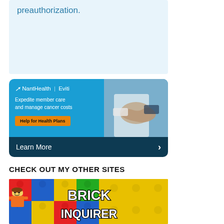preauthorization.
[Figure (infographic): NantHealth Eviti advertisement banner. Blue background with logo text 'NantHealth | Eviti', tagline 'Expedite member care and manage cancer costs', orange button 'Help for Health Plans', photo of handshake, dark lower bar with 'Learn More >']
CHECK OUT MY OTHER SITES
[Figure (illustration): Brick Inquirer banner showing LEGO-style colorful brick background with a LEGO minifigure character and large block text 'BRICK INQUIRER']